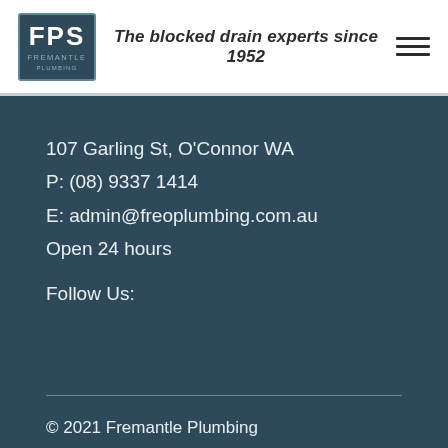The blocked drain experts since 1952
107 Garling St, O'Connor WA
P: (08) 9337 1414
E: admin@freoplumbing.com.au
Open 24 hours
Follow Us:
© 2021 Fremantle Plumbing